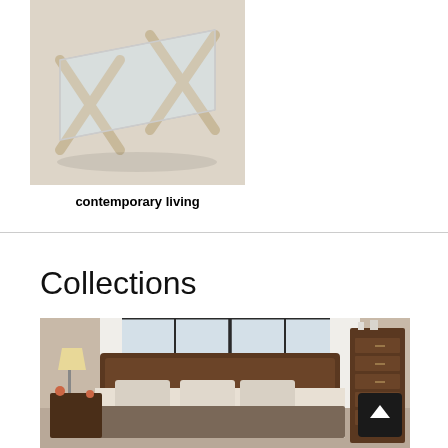[Figure (photo): A contemporary glass-top coffee table with crossed angular metal/wood frame legs, shown from above on a light background]
contemporary living
Collections
[Figure (photo): A bedroom furniture collection featuring a dark wood sleigh bed with upholstered headboard and pillows, flanked by nightstands with a lamp, alongside a tall dark wood dresser with multiple drawers]